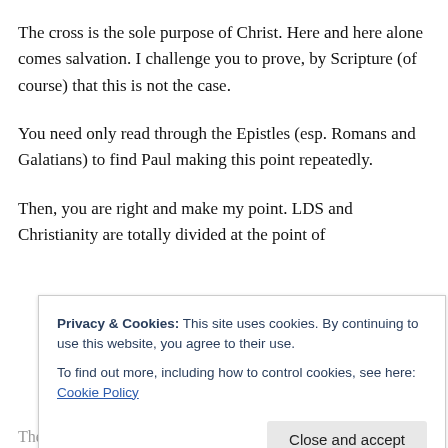The cross is the sole purpose of Christ. Here and here alone comes salvation. I challenge you to prove, by Scripture (of course) that this is not the case.
You need only read through the Epistles (esp. Romans and Galatians) to find Paul making this point repeatedly.
Then, you are right and make my point. LDS and Christianity are totally divided at the point of
Privacy & Cookies: This site uses cookies. By continuing to use this website, you agree to their use.
To find out more, including how to control cookies, see here: Cookie Policy
Close and accept
There is no such thing as "Christ," from His